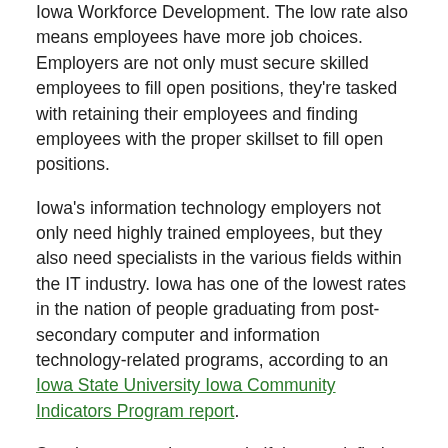Iowa Workforce Development. The low rate also means employees have more job choices. Employers are not only must secure skilled employees to fill open positions, they're tasked with retaining their employees and finding employees with the proper skillset to fill open positions.
Iowa's information technology employers not only need highly trained employees, but they also need specialists in the various fields within the IT industry. Iowa has one of the lowest rates in the nation of people graduating from post-secondary computer and information technology-related programs, according to an Iowa State University Iowa Community Indicators Program report.
So what are employers to do if they can't find employees with the proper IT background? If they do find skilled employees, how do employers keep them happy? Managed IT services could be the answer. Managed IT services allow companies to use third-party experts to handle or supplement their IT needs.